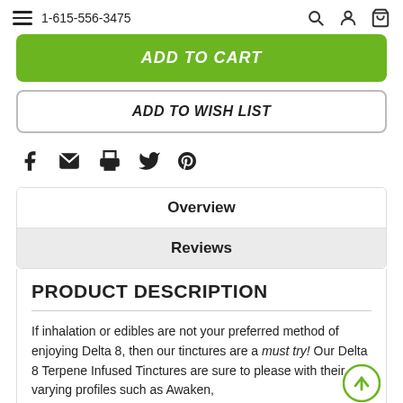1-615-556-3475
ADD TO CART
ADD TO WISH LIST
[Figure (illustration): Social share icons: Facebook, Email, Print, Twitter, Pinterest]
Overview
Reviews
PRODUCT DESCRIPTION
If inhalation or edibles are not your preferred method of enjoying Delta 8, then our tinctures are a must try! Our Delta 8 Terpene Infused Tinctures are sure to please with their varying profiles such as Awaken,